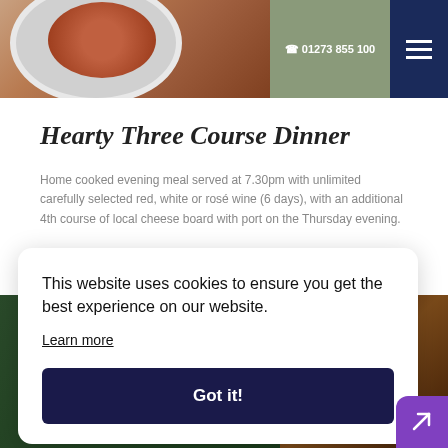[Figure (photo): Header image showing a plate of food (reddish soup or stew on a white plate) on a wooden table, with phone number and hamburger menu in the navigation bar]
Hearty Three Course Dinner
Home cooked evening meal served at 7.30pm with unlimited carefully selected red, white or rosé wine (6 days), with an additional 4th course of local cheese board with port on the Thursday evening.
[Figure (photo): Background photo strip showing board games (Scrabble tiles) and wine glasses on a table]
This website uses cookies to ensure you get the best experience on our website.
Learn more
Got it!